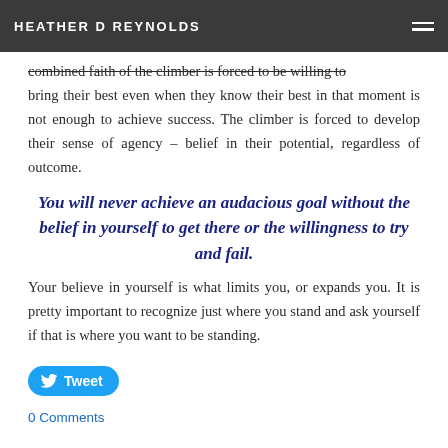HEATHER D REYNOLDS
combined faith of the climber is forced to be willing to bring their best even when they know their best in that moment is not enough to achieve success. The climber is forced to develop their sense of agency – belief in their potential, regardless of outcome.
You will never achieve an audacious goal without the belief in yourself to get there or the willingness to try and fail.
Your believe in yourself is what limits you, or expands you. It is pretty important to recognize just where you stand and ask yourself if that is where you want to be standing.
[Figure (other): Twitter Tweet button]
0 Comments